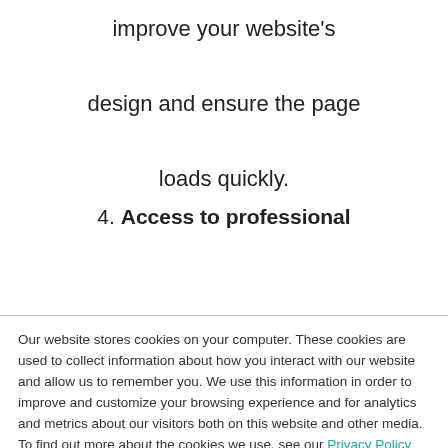improve your website's design and ensure the page loads quickly.
4. Access to professional
Our website stores cookies on your computer. These cookies are used to collect information about how you interact with our website and allow us to remember you. We use this information in order to improve and customize your browsing experience and for analytics and metrics about our visitors both on this website and other media. To find out more about the cookies we use, see our Privacy Policy and Cookie Policy.
If you decline, your information won't be tracked when you visit this website. A single cookie will be used in your browser to remember your preference not to be tracked.